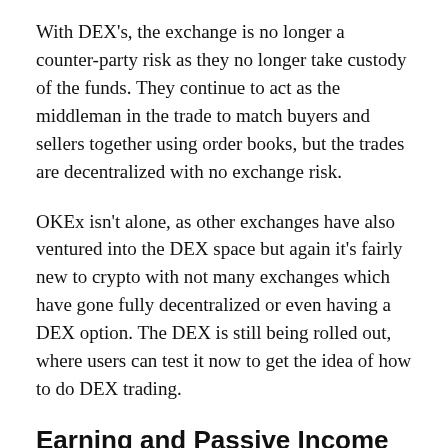With DEX's, the exchange is no longer a counter-party risk as they no longer take custody of the funds. They continue to act as the middleman in the trade to match buyers and sellers together using order books, but the trades are decentralized with no exchange risk.
OKEx isn't alone, as other exchanges have also ventured into the DEX space but again it's fairly new to crypto with not many exchanges which have gone fully decentralized or even having a DEX option. The DEX is still being rolled out, where users can test it now to get the idea of how to do DEX trading.
Earning and Passive Income
Not only is there beginner and advanced trading options, OKEx offers different ways to earn free crypto and create passive income for users. They have two options: